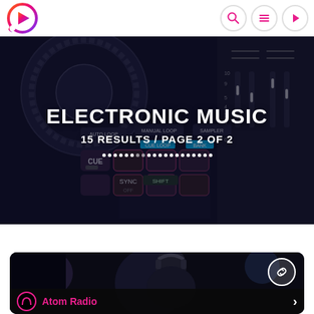[Figure (logo): Circular logo with gradient play-button icon in orange-red-purple gradient]
[Figure (illustration): Three icon circles: magnifying glass (search), hamburger menu, play button — navigation icons on white background]
[Figure (photo): DJ controller/mixer equipment photographed from above, dark tones with colored buttons and knobs, overlay text: ELECTRONIC MUSIC, 15 RESULTS / PAGE 2 OF 2, and pagination dots]
ELECTRONIC MUSIC
15 RESULTS / PAGE 2 OF 2
[Figure (photo): Person wearing headphones, dark atmospheric photo used as card background for Atom Radio station]
Atom Radio